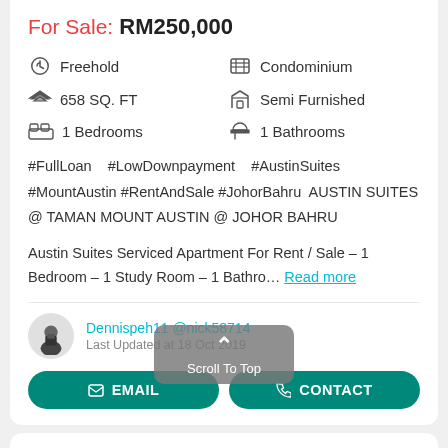For Sale: RM250,000
Freehold
Condominium
658 SQ. FT
Semi Furnished
1 Bedrooms
1 Bathrooms
#FullLoan   #LowDownpayment   #AustinSuites #MountAustin #RentAndSale #JohorBahru  AUSTIN SUITES @ TAMAN MOUNT AUSTIN @ JOHOR BAHRU Austin Suites Serviced Apartment For Rent / Sale – 1 Bedroom – 1 Study Room – 1 Bathro… Read more
Dennispeh11 @nick58714
Last Updated at 18 Oct 2019
EMAIL
CONTACT
Scroll To Top